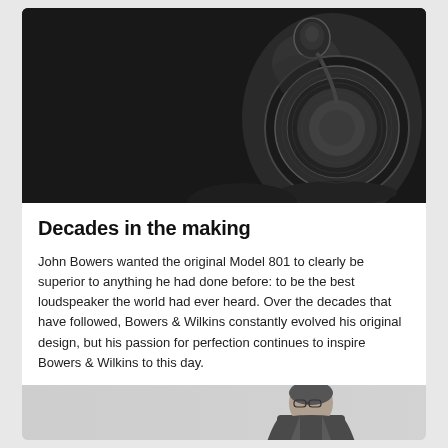[Figure (photo): Black and white close-up photograph of a high-end Bowers & Wilkins speaker (Model 801 series) on a dark background, showing the distinctive curved enclosure and driver cone.]
Decades in the making
John Bowers wanted the original Model 801 to clearly be superior to anything he had done before: to be the best loudspeaker the world had ever heard. Over the decades that have followed, Bowers & Wilkins constantly evolved his original design, but his passion for perfection continues to inspire Bowers & Wilkins to this day.
[Figure (photo): Black and white photograph of a man in a suit, presumably John Bowers, on a light grey background, cropped at the bottom of the page.]